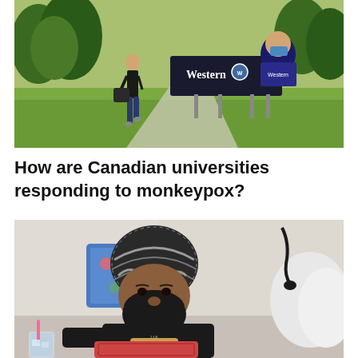[Figure (photo): Outdoor campus scene at Western University. A person in dark clothing walks along a path carrying a bag. A large sign reading 'Western' with the university logo is visible. Another person wearing a blue mask and Western-branded top is partially visible in the background. Green grass and trees fill the scene.]
How are Canadian universities responding to monkeypox?
[Figure (photo): A Sikh man wearing a patterned black and white turban and a black Under Armour t-shirt rests on a bed or couch. He is surrounded by colorful pillows and a white fluffy blanket. He holds something in his lap. A drink with a pink straw is visible in the lower left corner. The setting appears to be a home environment.]